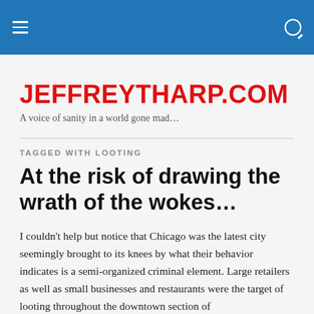JEFFREYTHARP.COM — navigation header bar
JEFFREYTHARP.COM
A voice of sanity in a world gone mad…
TAGGED WITH LOOTING
At the risk of drawing the wrath of the wokes…
I couldn't help but notice that Chicago was the latest city seemingly brought to its knees by what their behavior indicates is a semi-organized criminal element. Large retailers as well as small businesses and restaurants were the target of looting throughout the downtown section of